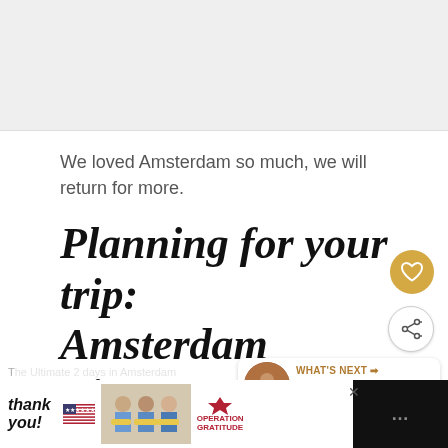[Figure (photo): Top image placeholder / blurred photo area]
We loved Amsterdam so much, we will return for more.
Planning for your trip: Amsterdam Itinerary 2 days
[Figure (infographic): Floating heart favorite button (gold circle with heart icon)]
[Figure (infographic): Share button (white circle with share icon)]
[Figure (infographic): What's Next bubble with thumbnail, label WHAT'S NEXT, text 'The Ultimate 2 days in...']
[Figure (photo): Ad banner at bottom: Thank you text with US flag, photo of people with masks, Operation Gratitude logo, close X button, dark right panel with dots]